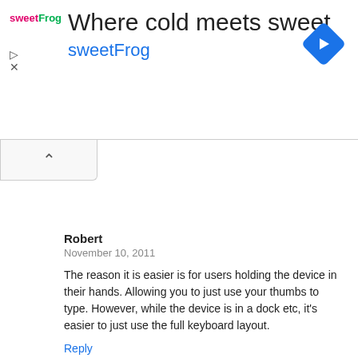[Figure (other): Advertisement banner for sweetFrog frozen yogurt with title 'Where cold meets sweet', brand name 'sweetFrog' in cyan, a blue diamond navigation icon, and ad control icons]
Robert
November 10, 2011

The reason it is easier is for users holding the device in their hands. Allowing you to just use your thumbs to type. However, while the device is in a dock etc, it's easier to just use the full keyboard layout.

Reply